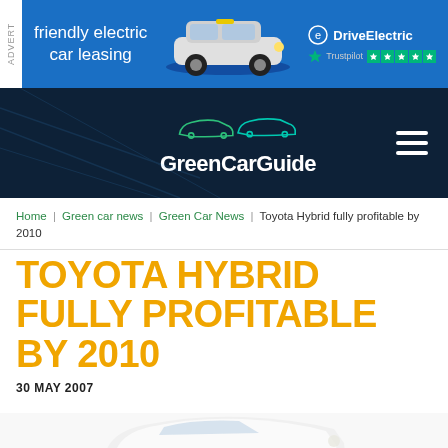[Figure (other): Advertisement banner for DriveElectric friendly electric car leasing with a MINI electric car image, DriveElectric logo and Trustpilot 5-star rating]
[Figure (logo): GreenCarGuide website navigation header with logo showing car outlines in green/teal on dark navy background, hamburger menu icon]
Home | Green car news | Green Car News | Toyota Hybrid fully profitable by 2010
TOYOTA HYBRID FULLY PROFITABLE BY 2010
30 MAY 2007
[Figure (photo): Partial view of a white Toyota hybrid car from the front/side]